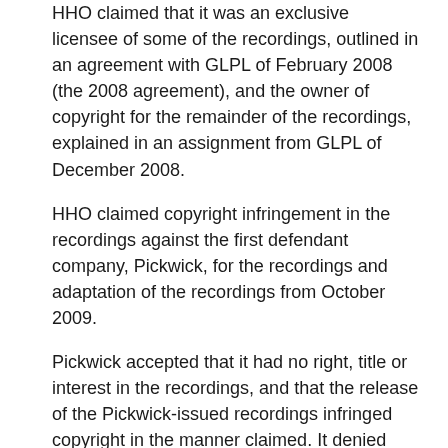HHO claimed that it was an exclusive licensee of some of the recordings, outlined in an agreement with GLPL of February 2008 (the 2008 agreement), and the owner of copyright for the remainder of the recordings, explained in an assignment from GLPL of December 2008.
HHO claimed copyright infringement in the recordings against the first defendant company, Pickwick, for the recordings and adaptation of the recordings from October 2009.
Pickwick accepted that it had no right, title or interest in the recordings, and that the release of the Pickwick-issued recordings infringed copyright in the manner claimed. It denied that HHO was the owner or exclusive licensee of those copyrights and sought dismissal of the claim.
Issues: